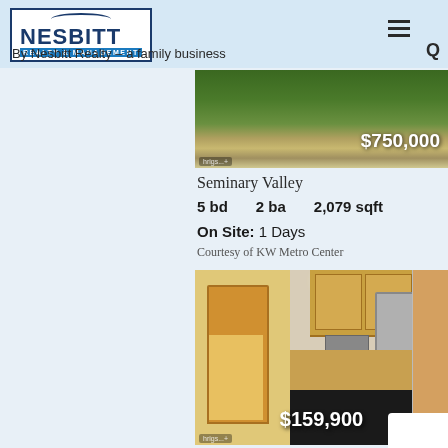[Figure (logo): Nesbitt Realty & Management logo]
By Nesbitt Realty – a family business
[Figure (photo): Exterior property photo with $750,000 price overlay]
Seminary Valley
5 bd  2 ba  2,079 sqft
On Site: 1 Days
Courtesy of KW Metro Center
[Figure (photo): Kitchen interior photo with $159,900 price overlay]
Twenty-One